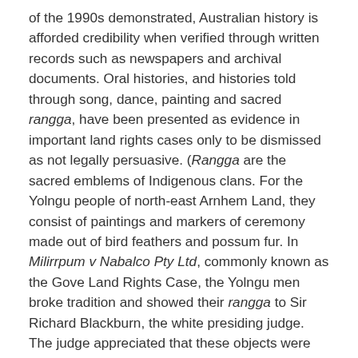of the 1990s demonstrated, Australian history is afforded credibility when verified through written records such as newspapers and archival documents. Oral histories, and histories told through song, dance, painting and sacred rangga, have been presented as evidence in important land rights cases only to be dismissed as not legally persuasive. (Rangga are the sacred emblems of Indigenous clans. For the Yolngu people of north-east Arnhem Land, they consist of paintings and markers of ceremony made out of bird feathers and possum fur. In Milirrpum v Nabalco Pty Ltd, commonly known as the Gove Land Rights Case, the Yolngu men broke tradition and showed their rangga to Sir Richard Blackburn, the white presiding judge. The judge appreciated that these objects were obviously religious in character but did not find them legally persuasive.) Similarly, critics of the Bringing them home report (1997) argued that the witnesses' testimonies should be dismissed as mere stories because they were not subjected to rigorous cross-examination in a court of law.Davis wants to